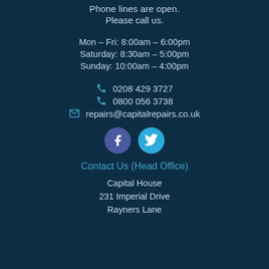Phone lines are open.
Please call us.
Mon – Fri: 8:00am – 6:00pm
Saturday: 8:30am – 5:00pm
Sunday: 10:00am – 4:00pm
0208 429 3727
0800 056 3738
repairs@capitalrepairs.co.uk
[Figure (illustration): Facebook and Twitter social media icon circles]
Contact Us (Head Office)
Capital House
231 Imperial Drive
Rayners Lane